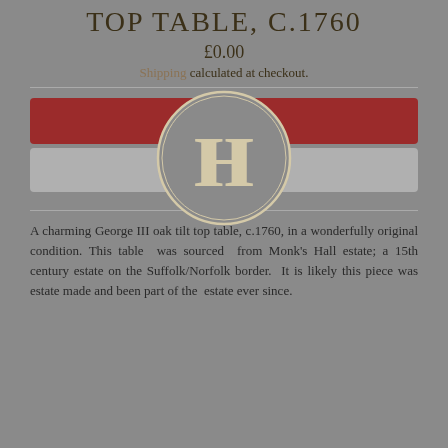TOP TABLE, C.1760
£0.00
Shipping calculated at checkout.
[Figure (logo): Circular antique dealer logo with large letters H and N (mirrored) in cream/beige on grey background, with a thin circle border]
A charming George III oak tilt top table, c.1760, in a wonderfully original condition. This table was sourced from Monk's Hall estate; a 15th century estate on the Suffolk/Norfolk border. It is likely this piece was estate made and been part of the estate ever since.